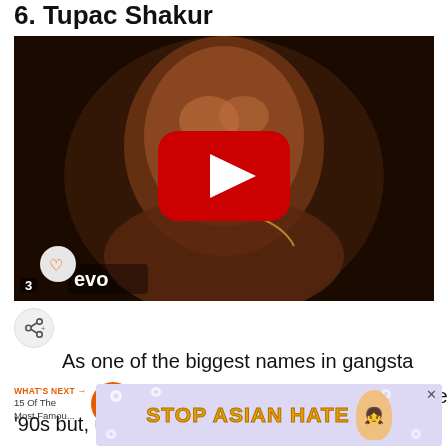6. Tupac Shakur
[Figure (screenshot): YouTube video thumbnail showing Tupac Shakur's face on a dark background with a red YouTube play button in the center and the Vevo logo in the lower left corner.]
3
As one of the biggest names in gangsta Shakur reached his peak in the '90s but, unfortunately, passed away.
[Figure (infographic): WHAT'S NEXT → 15 Of The Most Famou... circular orange badge with text about most famous rappers of the 1980s]
[Figure (infographic): STOP ASIAN HATE advertisement banner on a lavender background with flower decorations and an anime character]